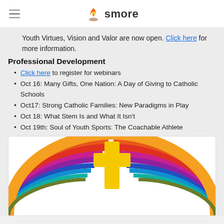smore
Youth Virtues, Vision and Valor are now open. Click here for more information.
Professional Development
Click here to register for webinars
Oct 16: Many Gifts, One Nation: A Day of Giving to Catholic Schools
Oct17: Strong Catholic Families: New Paradigms in Play
Oct 18: What Stem Is and What It Isn't
Oct 19th: Soul of Youth Sports: The Coachable Athlete
[Figure (illustration): Colorful rainbow arc illustration with a yellow cross in the center, left and right rainbow fan shapes on white background]